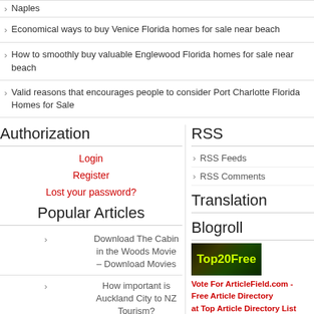Naples
Economical ways to buy Venice Florida homes for sale near beach
How to smoothly buy valuable Englewood Florida homes for sale near beach
Valid reasons that encourages people to consider Port Charlotte Florida Homes for Sale
Authorization
Login
Register
Lost your password?
Popular Articles
Download The Cabin in the Woods Movie – Download Movies
How important is Auckland City to NZ Tourism?
Finding Hot Online Dating Girls
Contact Us
Con Hoteles On Vacation viaja a la Isla
RSS
RSS Feeds
RSS Comments
Translation
Blogroll
[Figure (logo): Top20Free logo banner]
Vote For ArticleField.com - Free Article Directory at Top Article Directory List